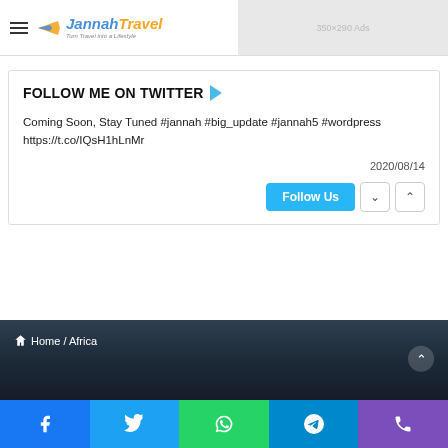Jannah Travel - Turn Travel into a Lifestyle
FOLLOW ME ON TWITTER
Coming Soon, Stay Tuned #jannah #big_update #jannah5 #wordpress https://t.co/IQsH1hLnMr
2020/08/14
[Figure (screenshot): Follow Us button with navigation arrows]
Home / Africa
[Figure (infographic): Social media bar: Facebook, Twitter, WhatsApp, Telegram, Phone]